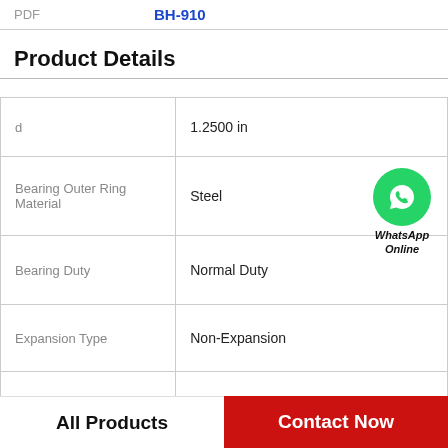| Property | Value |
| --- | --- |
|  | BH-910 |
| d | 1.2500 in |
| Bearing Outer Ring Material | Steel |
| Bearing Duty | Normal Duty |
| Expansion Type | Non-Expansion |
| Base to Center Height | Standard |
| Housing Type | 2 Bolt Pillow Block |
Product Details
All Products   Contact Now